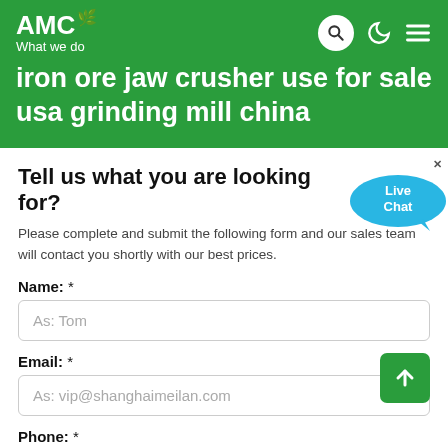AMC — What we do
iron ore jaw crusher use for sale usa grinding mill china
Tell us what you are looking for?
Please complete and submit the following form and our sales team will contact you shortly with our best prices.
Name: *
As: Tom
Email: *
As: vip@shanghaimeilan.com
Phone: *
With Country Code